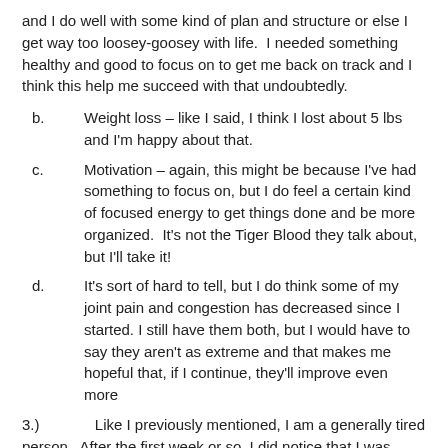and I do well with some kind of plan and structure or else I get way too loosey-goosey with life.  I needed something healthy and good to focus on to get me back on track and I think this help me succeed with that undoubtedly.
b.      Weight loss – like I said, I think I lost about 5 lbs and I'm happy about that.
c.      Motivation – again, this might be because I've had something to focus on, but I do feel a certain kind of focused energy to get things done and be more organized.  It's not the Tiger Blood they talk about, but I'll take it!
d.      It's sort of hard to tell, but I do think some of my joint pain and congestion has decreased since I started. I still have them both, but I would have to say they aren't as extreme and that makes me hopeful that, if I continue, they'll improve even more
3.)     Like I previously mentioned, I am a generally tired person.  After the first week or so, I did notice that I was sleeping pretty well.  Sleep, however, was never really a big issue for me and I still have trouble getting out of bed in the morning.  I've always sort of been a night owl and feel my best and most energetic from 5-9pm